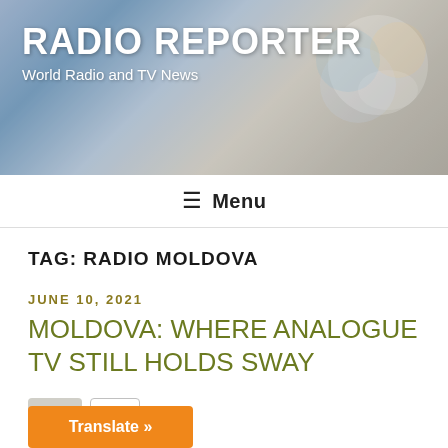RADIO REPORTER
World Radio and TV News
≡ Menu
TAG: RADIO MOLDOVA
JUNE 10, 2021
MOLDOVA: WHERE ANALOGUE TV STILL HOLDS SWAY
[Figure (other): Like button with count 0]
Translate »